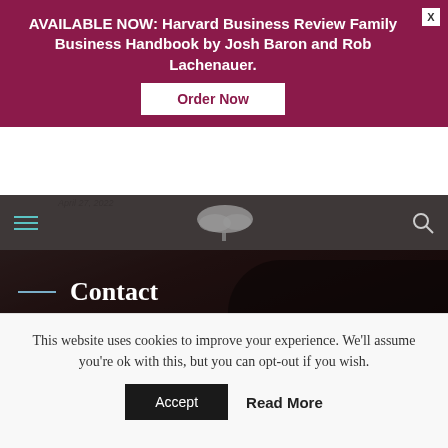AVAILABLE NOW: Harvard Business Review Family Business Handbook by Josh Baron and Rob Lachenauer.
Order Now
April 27, 2022
[Figure (logo): Tree logo / navigation bar with hamburger menu, tree logo, and search icon]
Contact
66 Long Wharf, Suite 300
Boston, MA 02110
Phone number: 617.500.6701
This website uses cookies to improve your experience. We'll assume you're ok with this, but you can opt-out if you wish.
Accept
Read More